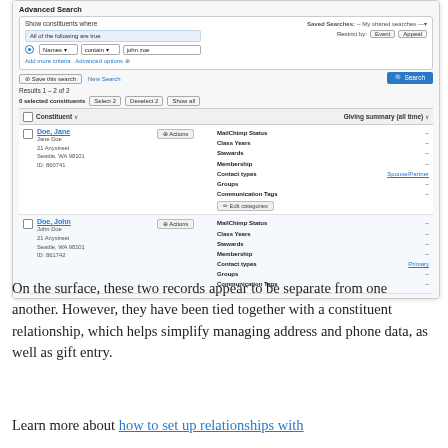[Figure (screenshot): Screenshot of a nonprofit CRM (Bloomerang) Advanced Search interface showing two constituent records for Jane Doe and John Doe, with fields for MailChimp Status, Class Years, Stewards, Membership, Contact types (Spouse/Partner and Primary), Groups, and Communication Tags.]
On the surface, these two records appear to be separate from one another. However, they have been tied together with a constituent relationship, which helps simplify managing address and phone data, as well as gift entry.
Learn more about how to set up relationships with